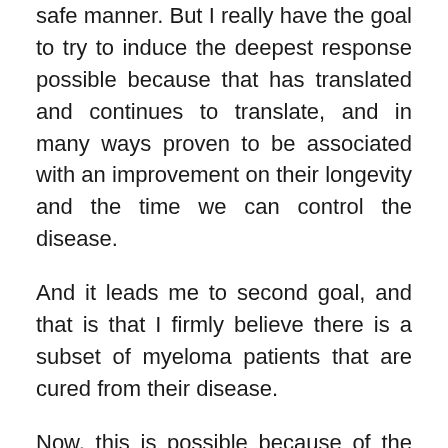safe manner. But I really have the goal to try to induce the deepest response possible because that has translated and continues to translate, and in many ways proven to be associated with an improvement on their longevity and the time we can control the disease.
And it leads me to second goal, and that is that I firmly believe there is a subset of myeloma patients that are cured from their disease.
Now, this is possible because of the availability of these new treatments. I will only be able to say that in 10 and 15 years from now, when we have monitored patients for a long period